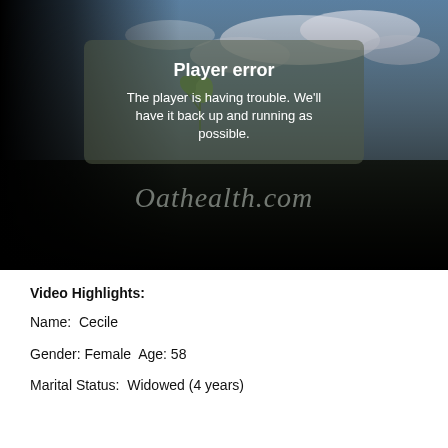[Figure (screenshot): Video player error screen with dark/nature background showing 'Player error' message and Oathealth.com watermark]
Video Highlights:
Name:  Cecile
Gender: Female  Age: 58
Marital Status:  Widowed (4 years)